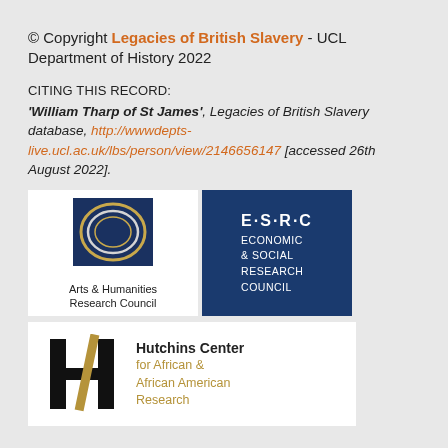© Copyright Legacies of British Slavery - UCL Department of History 2022
CITING THIS RECORD:
'William Tharp of St James', Legacies of British Slavery database, http://wwwdepts-live.ucl.ac.uk/lbs/person/view/2146656147 [accessed 26th August 2022].
[Figure (logo): Arts & Humanities Research Council logo - circular dark blue swirl on square background with text Arts & Humanities Research Council below]
[Figure (logo): ESRC Economic & Social Research Council logo - white text on dark blue square background]
[Figure (logo): Hutchins Center for African & African American Research logo - H with diagonal slash mark in black and gold, with text Hutchins Center for African & African American Research in black and gold]